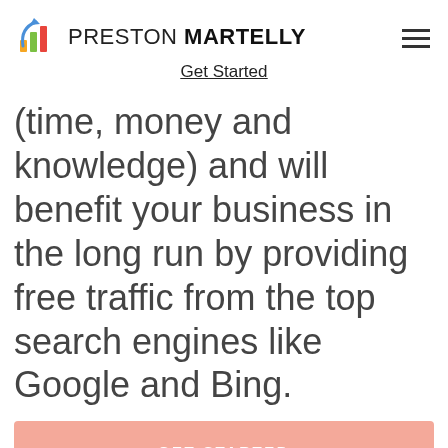PRESTON MARTELLY
Get Started
(time, money and knowledge) and will benefit your business in the long run by providing free traffic from the top search engines like Google and Bing.
GET STARTED
[Figure (illustration): Large decorative quotation mark in light grey]